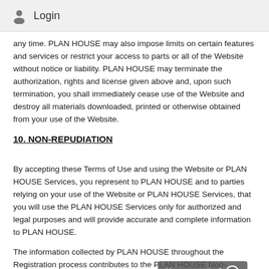Login
any time. PLAN HOUSE may also impose limits on certain features and services or restrict your access to parts or all of the Website without notice or liability. PLAN HOUSE may terminate the authorization, rights and license given above and, upon such termination, you shall immediately cease use of the Website and destroy all materials downloaded, printed or otherwise obtained from your use of the Website.
10. NON-REPUDIATION
By accepting these Terms of Use and using the Website or PLAN HOUSE Services, you represent to PLAN HOUSE and to parties relying on your use of the Website or PLAN HOUSE Services, that you will use the PLAN HOUSE Services only for authorized and legal purposes and will provide accurate and complete information to PLAN HOUSE.
The information collected by PLAN HOUSE throughout the Registration process contributes to the PLAN HOUSE Non-Repudiation system and policies. PLAN HOUSE will use...